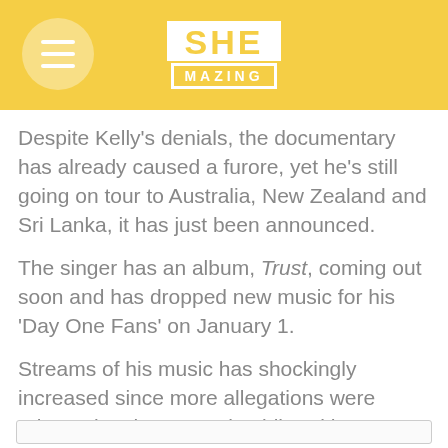SHE MAZING
Despite Kelly's denials, the documentary has already caused a furore, yet he's still going on tour to Australia, New Zealand and Sri Lanka, it has just been announced.
The singer has an album, Trust, coming out soon and has dropped new music for his 'Day One Fans' on January 1.
Streams of his music has shockingly increased since more allegations were released to the general public, with numerous celebrities slamming his actions and treatment of black women.